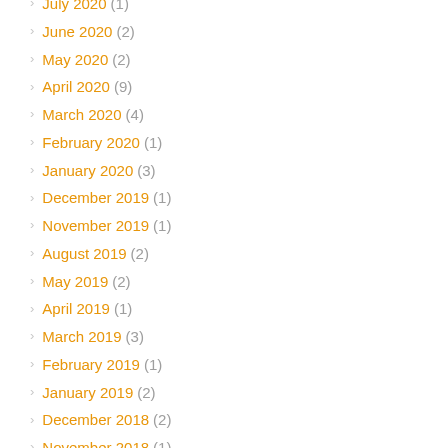July 2020 (1)
June 2020 (2)
May 2020 (2)
April 2020 (9)
March 2020 (4)
February 2020 (1)
January 2020 (3)
December 2019 (1)
November 2019 (1)
August 2019 (2)
May 2019 (2)
April 2019 (1)
March 2019 (3)
February 2019 (1)
January 2019 (2)
December 2018 (2)
November 2018 (1)
October 2018 (6)